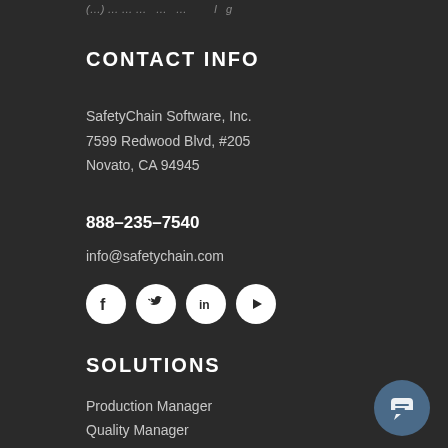(…) … … … … l g
CONTACT INFO
SafetyChain Software, Inc.
7599 Redwood Blvd, #205
Novato, CA 94945
888-235-7540
info@safetychain.com
[Figure (infographic): Four social media icons in white circles: Facebook, Twitter, LinkedIn, YouTube]
SOLUTIONS
Production Manager
Quality Manager
Supplier Manager